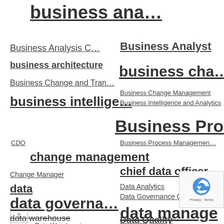business ana…
Business Analysis C…
Business Analyst
business architecture
business cha…
Business Change and Tran…
Business Change Management
Business Intelligence and Analytics
business intellige…
Business Pro…
CDO
Business Process Managemen…
change management
Change Manager
chief data officer
data
Data Analytics
Data Governance Conference
data governa…
data manage
data warehouse
Data Quality
Data Warehousing